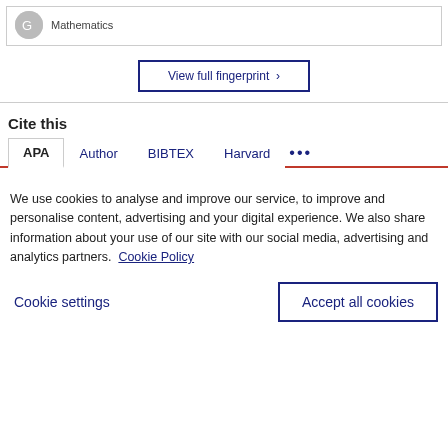Mathematics
View full fingerprint >
Cite this
APA  Author  BIBTEX  Harvard  ...
We use cookies to analyse and improve our service, to improve and personalise content, advertising and your digital experience. We also share information about your use of our site with our social media, advertising and analytics partners.  Cookie Policy
Cookie settings
Accept all cookies